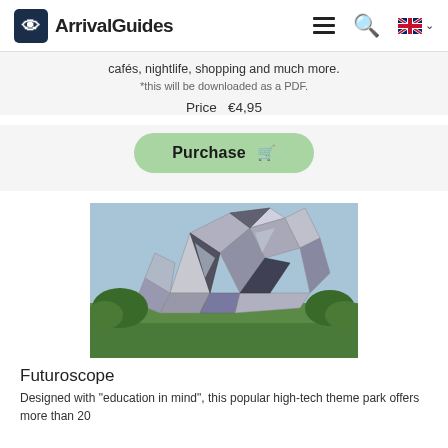ArrivalGuides
cafés, nightlife, shopping and much more.
*this will be downloaded as a PDF.
Price  €4,95
Purchase
[Figure (photo): Futuroscope building — a modern angular mirrored high-tech structure surrounded by trees under a blue sky]
Futuroscope
Designed with "education in mind", this popular high-tech theme park offers more than 20